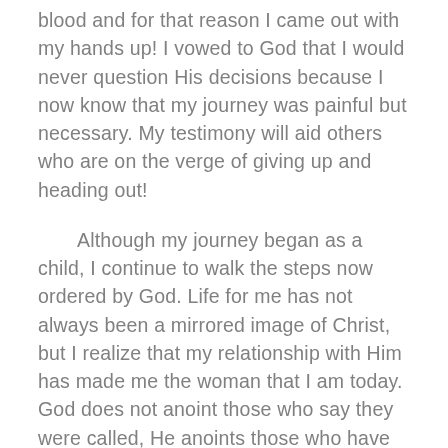blood and for that reason I came out with my hands up! I vowed to God that I would never question His decisions because I now know that my journey was painful but necessary. My testimony will aid others who are on the verge of giving up and heading out!
Although my journey began as a child, I continue to walk the steps now ordered by God. Life for me has not always been a mirrored image of Christ, but I realize that my relationship with Him has made me the woman that I am today. God does not anoint those who say they were called, He anoints those who have accepted the call. Today I stand as an empty vessel saying, “Lord, I am readily available to be used by you.” My loss was His gain!